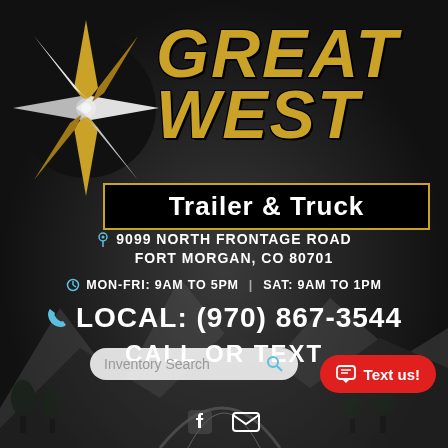[Figure (logo): Great West Trailer & Truck logo with compass star and brand name]
9099 NORTH FRONTAGE ROAD FORT MORGAN, CO 80701
MON-FRI: 9AM TO 5PM | SAT: 9AM TO 1PM
LOCAL: (970) 867-3544
CALL OR TEXT
Inventory Search
Text us!